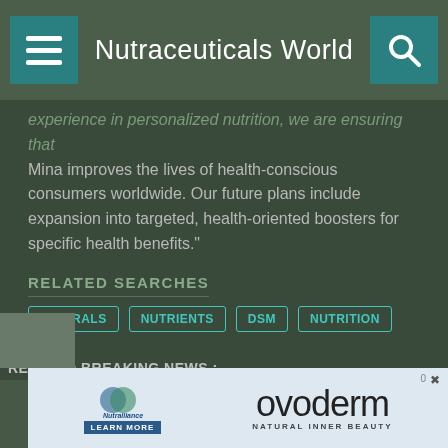Nutraceuticals World
experience in personalized nutrition, we are ensuring that Mina improves the lives of health-conscious consumers worldwide. Our future plans include expansion into targeted, health-oriented boosters for specific health benefits."
RELATED SEARCHES
MINERALS
NUTRIENTS
DSM
NUTRITION
RELATED BREAKING NEWS :
NutriLeads BV Appoints Joana Carneiro as CEO
[Figure (logo): NutriLeads Ingredients for health logo]
[Figure (screenshot): Advertisement banner: Nutralliance and Ovoderm Natural Inner Beauty ad]